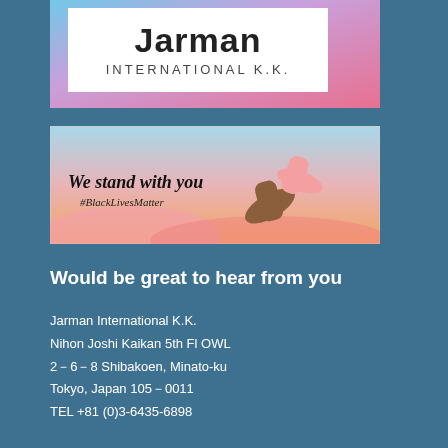[Figure (logo): Jarman International K.K. logo with colorful watercolor background (blue, pink, purple) and white box containing black text 'Jarman INTERNATIONAL K.K.']
[Figure (illustration): Two hands of different skin tones clasping each other against a pink/blue sky background. Text reads 'We stand with you' and '#BlackLivesMatter']
Would be great to hear from you
Jarman International K.K.
Nihon Joshi Kaikan 5th Fl OWL
2-6-8 Shibakoen, Minato-ku
Tokyo, Japan 105-0011
TEL +81 (0)3-6435-6898